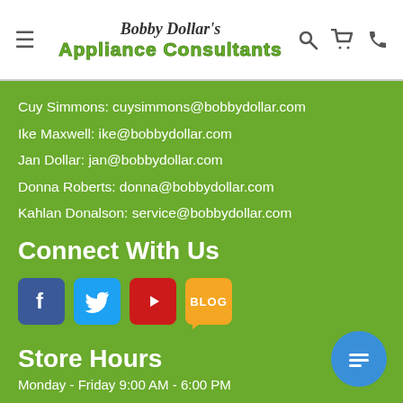Bobby Dollar's Appliance Consultants — navigation header with hamburger menu, search, cart, and phone icons
Cuy Simmons: cuysimmons@bobbydollar.com
Ike Maxwell: ike@bobbydollar.com
Jan Dollar: jan@bobbydollar.com
Donna Roberts: donna@bobbydollar.com
Kahlan Donalson: service@bobbydollar.com
Connect With Us
[Figure (illustration): Social media icons: Facebook, Twitter, YouTube, Blog]
Store Hours
Monday - Friday 9:00 AM - 6:00 PM